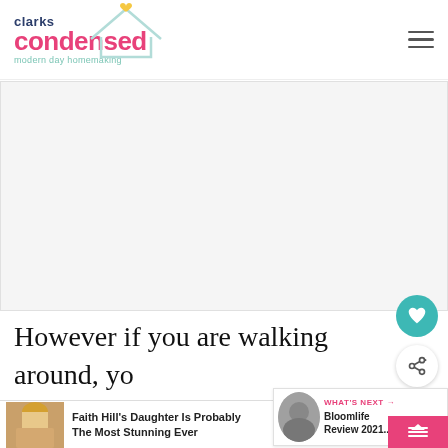[Figure (logo): Clarks Condensed logo with house icon and tagline 'modern day homemaking']
[Figure (photo): Large advertisement or image placeholder, light gray]
However if you are walking around, you don't have to wear a mask. Because crowds were so low, we weren't even clo...
[Figure (infographic): WHAT'S NEXT callout with thumbnail image and text 'Bloomlife Review 2021...']
[Figure (photo): Noteable advertisement: Faith Hill's Daughter Is Probably The Most Stunning Ever, with photo of blonde woman]